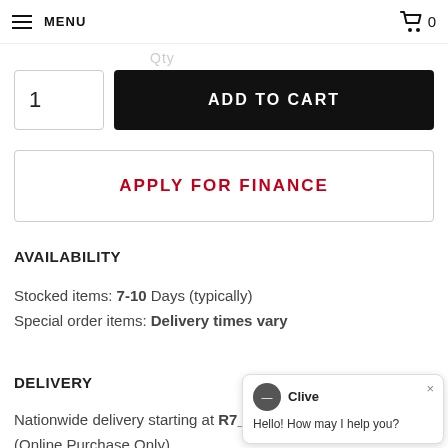MENU  0
Qty
1  ADD TO CART
APPLY FOR FINANCE
AVAILABILITY
Stocked items: 7-10 Days (typically)
Special order items: Delivery times vary
DELIVERY
Nationwide delivery starting at R7__ (Online Purchase Only).
Clive
Hello! How may I help you?